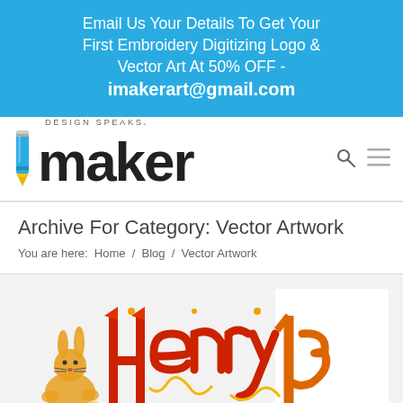Email Us Your Details To Get Your First Embroidery Digitizing Logo & Vector Art At 50% OFF - imakerart@gmail.com
[Figure (logo): imaker Design Speaks logo with blue pencil icon and bold 'maker' text]
Archive For Category: Vector Artwork
You are here: Home / Blog / Vector Artwork
[Figure (illustration): Decorative vector artwork showing gothic/medieval style lettering in red and orange with a rabbit figure on the left]